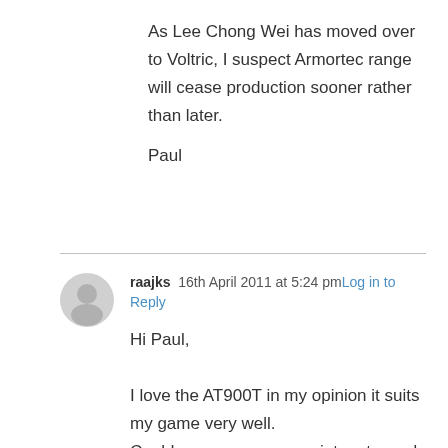As Lee Chong Wei has moved over to Voltric, I suspect Armortec range will cease production sooner rather than later.

Paul
raajks  16th April 2011 at 5:24 pm  Log in to Reply

Hi Paul,

I love the AT900T in my opinion it suits my game very well.
Could you some more pointers towards the future of AT900T